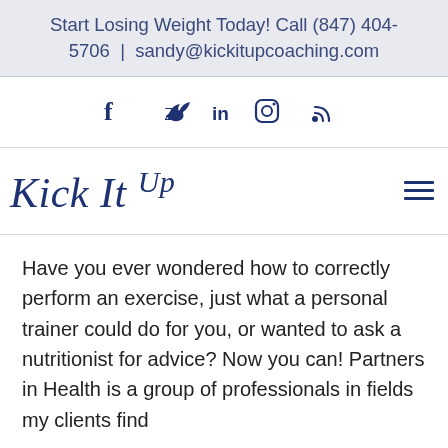Start Losing Weight Today! Call (847) 404-5706 | sandy@kickitupcoaching.com
[Figure (other): Social media icons: Facebook, Twitter, LinkedIn, Instagram, RSS feed]
[Figure (logo): Kick It Up logo in italic navy blue serif font]
Have you ever wondered how to correctly perform an exercise, just what a personal trainer could do for you, or wanted to ask a nutritionist for advice? Now you can! Partners in Health is a group of professionals in fields my clients find